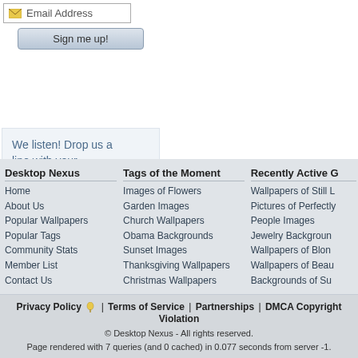[Figure (screenshot): Email address input field with envelope icon]
[Figure (screenshot): Sign me up! button with grey gradient]
We listen! Drop us a line with your thoughts, comments, or feedback!
[Figure (illustration): Black and white illustration of a man with a megaphone]
Support This Site
Desktop Nexus
Home
About Us
Popular Wallpapers
Popular Tags
Community Stats
Member List
Contact Us
Tags of the Moment
Images of Flowers
Garden Images
Church Wallpapers
Obama Backgrounds
Sunset Images
Thanksgiving Wallpapers
Christmas Wallpapers
Recently Active G
Wallpapers of Still L
Pictures of Perfectly
People Images
Jewelry Backgroun
Wallpapers of Blon
Wallpapers of Beau
Backgrounds of Su
Privacy Policy | Terms of Service | Partnerships | DMCA Copyright Violation
© Desktop Nexus - All rights reserved.
Page rendered with 7 queries (and 0 cached) in 0.077 seconds from server -1.